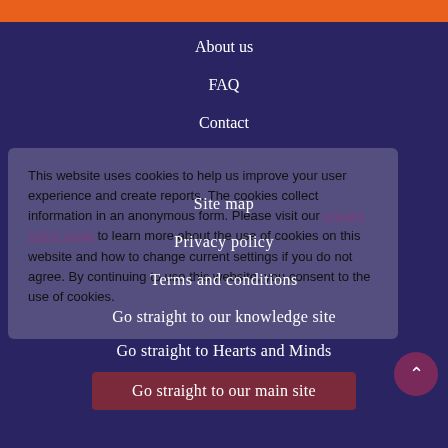About us
FAQ
Contact
This website uses cookies to help us improve your user experience and create reports. The cookies collect information in an anonymous form. Please visit our privacy policy page to learn more about the use of cookies on this website and how to change current settings if you do not agree. By continuing to use this website, you consent to the use of cookies.
Site map
Privacy policy
Terms and conditions
Go straight to our knowledge site
Go straight to Hearts and Minds
Go straight to our main site